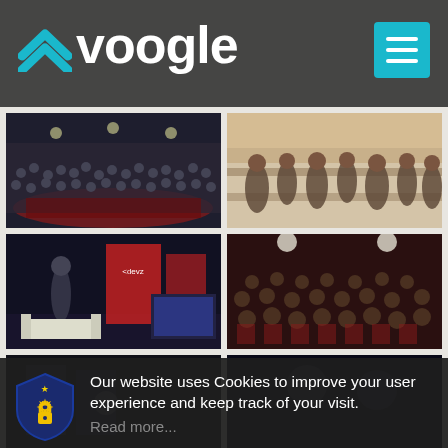[Figure (screenshot): Voogle website header with logo and hamburger menu button on dark background]
[Figure (photo): Large conference crowd on a stage with dark lighting, audience filling the hall]
[Figure (photo): Networking event with people standing at tables in a bright room]
[Figure (photo): Presenter on stage with banner displays and colorful exhibits]
[Figure (photo): Seated audience at a conference in a darkened room with red chairs]
[Figure (photo): Partial view of bottom left conference photo]
[Figure (photo): Partial view of bottom right dark conference photo]
Our website uses Cookies to improve your user experience and keep track of your visit. Read more...
Okay